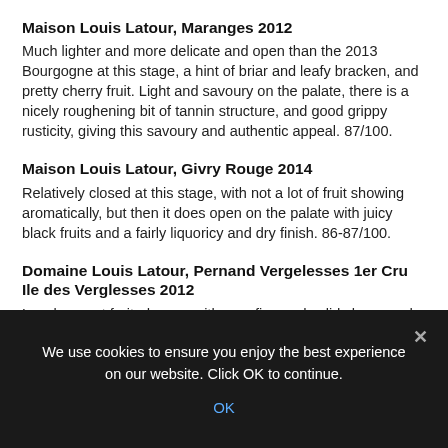Maison Louis Latour, Maranges 2012
Much lighter and more delicate and open than the 2013 Bourgogne at this stage, a hint of briar and leafy bracken, and pretty cherry fruit. Light and savoury on the palate, there is a nicely roughening bit of tannin structure, and good grippy rusticity, giving this savoury and authentic appeal. 87/100.
Maison Louis Latour, Givry Rouge 2014
Relatively closed at this stage, with not a lot of fruit showing aromatically, but then it does open on the palate with juicy black fruits and a fairly liquoricy and dry finish. 86-87/100.
Domaine Louis Latour, Pernand Vergelesses 1er Cru Ile des Verglesses 2012
Lovely sweet fruited nose, with very fine and solid cherry and red liquorice aromas, a soft sheen of smoke and gentle earthiness. The palate has good fruit, a nice serious bit of grip
We use cookies to ensure you enjoy the best experience on our website. Click OK to continue.
OK